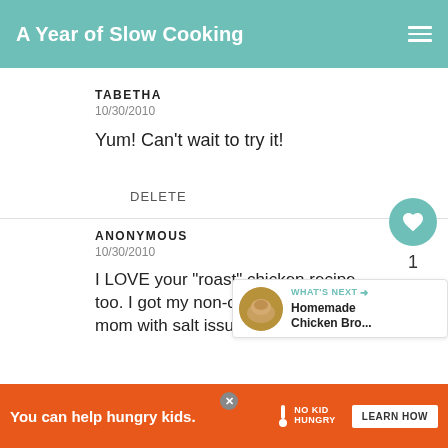A Year of Slow Cooking
TABETHA
10/30/2010
Yum! Can't wait to try it!
DELETE
ANONYMOUS
10/30/2010
I LOVE your "roast" chicken recipe too. I got my non-cooking diabtic mom with salt issues to
[Figure (screenshot): What's Next widget showing Homemade Chicken Bro... with a circular thumbnail image of chicken broth]
[Figure (other): Ad banner: You can help hungry kids. No Kid Hungry. LEARN HOW button. Orange background with close X button.]